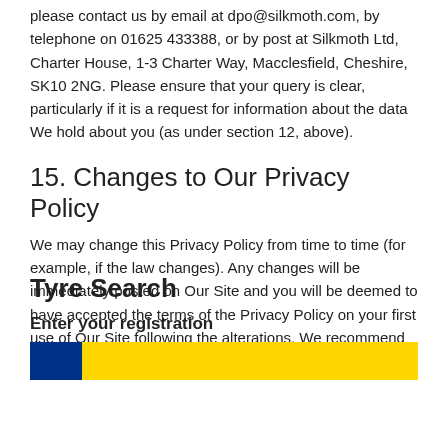please contact us by email at dpo@silkmoth.com, by telephone on 01625 433388, or by post at Silkmoth Ltd, Charter House, 1-3 Charter Way, Macclesfield, Cheshire, SK10 2NG. Please ensure that your query is clear, particularly if it is a request for information about the data We hold about you (as under section 12, above).
15. Changes to Our Privacy Policy
We may change this Privacy Policy from time to time (for example, if the law changes). Any changes will be immediately posted on Our Site and you will be deemed to have accepted the terms of the Privacy Policy on your first use of Our Site following the alterations. We recommend that you check this page regularly to keep up-to-date.
Tyre Search
Enter your registration